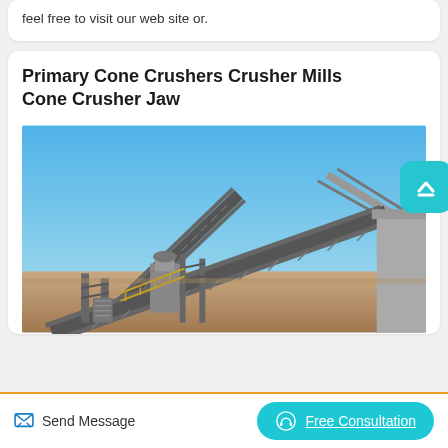feel free to visit our web site or.
Primary Cone Crushers Crusher Mills Cone Crusher Jaw
[Figure (photo): Industrial mining/quarry conveyor belt system with multiple inclined conveyors, structural steel framework, and processing equipment under a clear blue sky.]